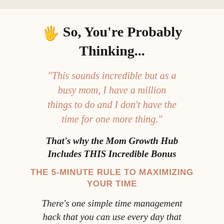🖐 So, You're Probably Thinking...
"This sounds incredible but as a busy mom, I have a million things to do and I don't have the time for one more thing."
That's why the Mom Growth Hub Includes THIS Incredible Bonus
THE 5-MINUTE RULE TO MAXIMIZING YOUR TIME
There's one simple time management hack that you can use every day that